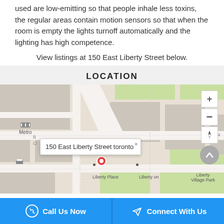used are low-emitting so that people inhale less toxins, the regular areas contain motion sensors so that when the room is empty the lights turnoff automatically and the lighting has high competence.
View listings at 150 East Liberty Street below.
LOCATION
[Figure (map): Street map showing 150 East Liberty Street toronto with a red location pin marker, popup tooltip reading '150 East Liberty Street toronto', nearby labels including Metro, Liberty Place, Liberty on, Liberty Village Park, Ciao Eu, map zoom controls (+/-) and compass on the right side.]